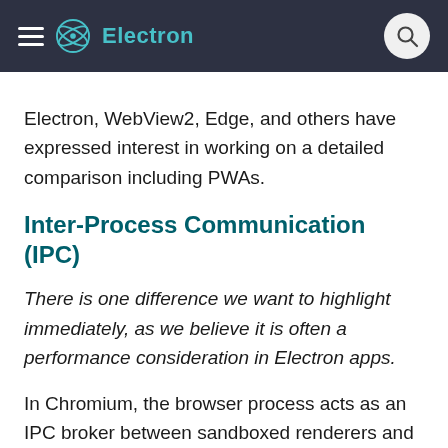Electron
Electron, WebView2, Edge, and others have expressed interest in working on a detailed comparison including PWAs.
Inter-Process Communication (IPC)
There is one difference we want to highlight immediately, as we believe it is often a performance consideration in Electron apps.
In Chromium, the browser process acts as an IPC broker between sandboxed renderers and the rest of the system. While Electron allows unsandboxed